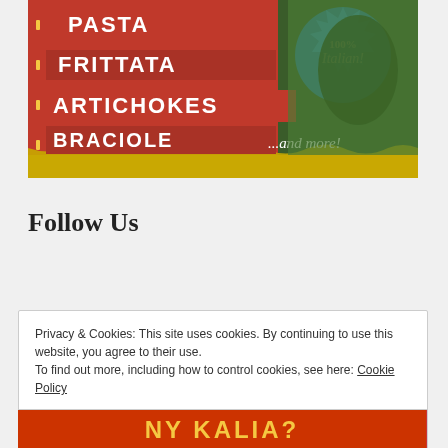[Figure (illustration): Food/recipe book cover image showing a red and green vintage Italian-style design with white text listing: PASTA, FRITTATA, ARTICHOKES, BRACIOLE ...and more! with a blue starburst badge containing italic text 'Italian!' on the right.]
Follow Us
Privacy & Cookies: This site uses cookies. By continuing to use this website, you agree to their use.
To find out more, including how to control cookies, see here: Cookie Policy
Close and accept
[Figure (illustration): Bottom strip of another Italian food image in red/yellow color scheme with large text visible]